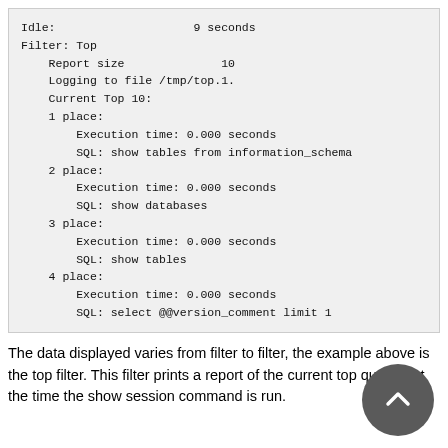Idle:                    9 seconds
Filter: Top
    Report size              10
    Logging to file /tmp/top.1.
    Current Top 10:
    1 place:
        Execution time: 0.000 seconds
        SQL: show tables from information_schema
    2 place:
        Execution time: 0.000 seconds
        SQL: show databases
    3 place:
        Execution time: 0.000 seconds
        SQL: show tables
    4 place:
        Execution time: 0.000 seconds
        SQL: select @@version_comment limit 1
The data displayed varies from filter to filter, the example above is the top filter. This filter prints a report of the current top queries at the time the show session command is run.